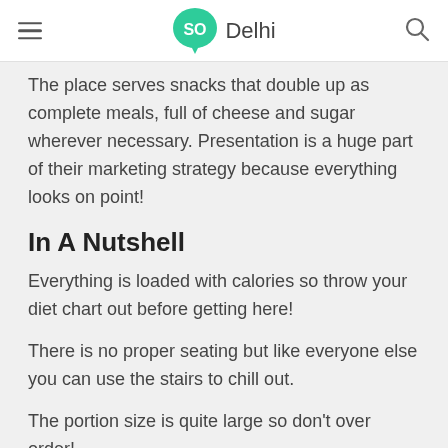SO Delhi
The place serves snacks that double up as complete meals, full of cheese and sugar wherever necessary. Presentation is a huge part of their marketing strategy because everything looks on point!
In A Nutshell
Everything is loaded with calories so throw your diet chart out before getting here!
There is no proper seating but like everyone else you can use the stairs to chill out.
The portion size is quite large so don't over order!
They don't have too many options for drinks and they need to expand in that section.